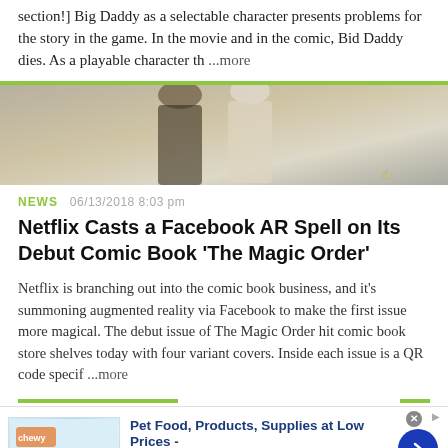section!] Big Daddy as a selectable character presents problems for the story in the game. In the movie and in the comic, Bid Daddy dies. As a playable character th ...more
[Figure (illustration): Partial comic book or movie artwork showing two figures in dark and light clothing, cropped at the top of the frame.]
NEWS   06/13/2018 8:03 pm
Netflix Casts a Facebook AR Spell on Its Debut Comic Book 'The Magic Order'
Netflix is branching out into the comic book business, and it's summoning augmented reality via Facebook to make the first issue more magical. The debut issue of The Magic Order hit comic book store shelves today with four variant covers. Inside each issue is a QR code specif ...more
[Figure (screenshot): Advertisement for Chewy.com: Pet Food, Products, Supplies at Low Prices - Pay the lowest prices on pet supplies at Chewy.com. Includes Chewy logo image, blue arrow button, and close button.]
[Figure (other): Bottom row of app/browser navigation icons including blue, dark, gray, and green icon boxes.]